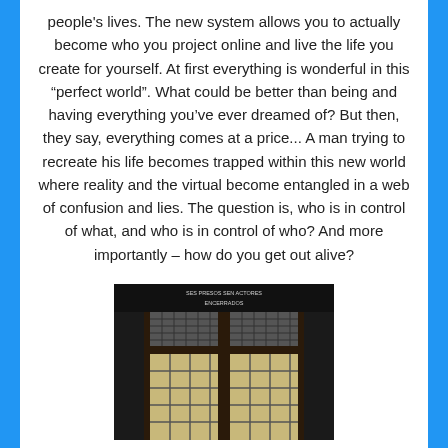people's lives. The new system allows you to actually become who you project online and live the life you create for yourself. At first everything is wonderful in this “perfect world”. What could be better than being and having everything you’ve ever dreamed of? But then, they say, everything comes at a price... A man trying to recreate his life becomes trapped within this new world where reality and the virtual become entangled in a web of confusion and lies. The question is, who is in control of what, and who is in control of who? And more importantly – how do you get out alive?
[Figure (photo): Dark image of what appears to be a prison door or gate with gridded glass panels and text at the top reading 'SES PRESOS SEN ACTORES ENCERRADOS']